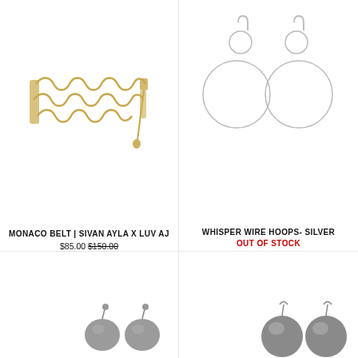[Figure (photo): Gold chain belt (Monaco Belt) on white background]
[Figure (photo): Silver wire hoop earrings (Whisper Wire Hoops) with cascading circle design on white background]
MONACO BELT | SIVAN AYLA X LUV AJ
$85.00 $150.00
WHISPER WIRE HOOPS- SILVER
OUT OF STOCK
[Figure (photo): Small silver/pewter stud earrings on white background (bottom left)]
[Figure (photo): Round silver/pewter ball earrings on white background (bottom right)]